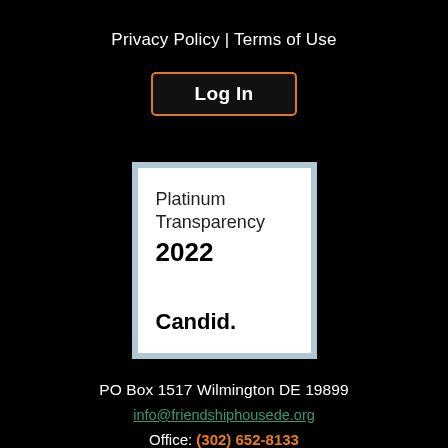Privacy Policy | Terms of Use
Log In
[Figure (logo): Platinum Transparency 2022 Candid. badge with light blue border and white inner background]
PO Box 1517 Wilmington DE 19899
info@friendshiphousede.org
Office: (302) 652-8133